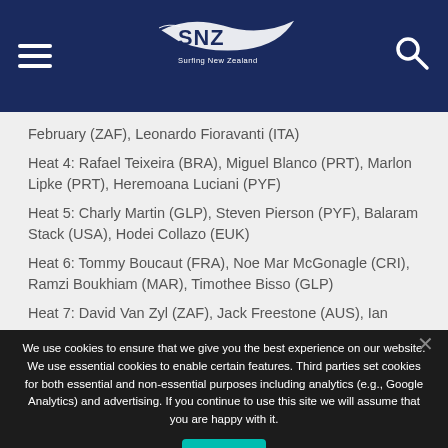Surfing New Zealand
February (ZAF), Leonardo Fioravanti (ITA)
Heat 4: Rafael Teixeira (BRA), Miguel Blanco (PRT), Marlon Lipke (PRT), Heremoana Luciani (PYF)
Heat 5: Charly Martin (GLP), Steven Pierson (PYF), Balaram Stack (USA), Hodei Collazo (EUK)
Heat 6: Tommy Boucaut (FRA), Noe Mar McGonagle (CRI), Ramzi Boukhiam (MAR), Timothee Bisso (GLP)
Heat 7: David Van Zyl (ZAF), Jack Freestone (AUS), Ian
We use cookies to ensure that we give you the best experience on our website. We use essential cookies to enable certain features. Third parties set cookies for both essential and non-essential purposes including analytics (e.g., Google Analytics) and advertising. If you continue to use this site we will assume that you are happy with it.